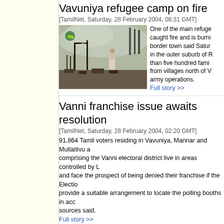Vavuniya refugee camp on fire
[TamilNet, Saturday, 28 February 2004, 08:31 GMT]
[Figure (photo): Photo of burnt refugee camp structures with smoke and a person standing amid charred remains]
One of the main refugee camps caught fire and is burning in the border town said Saturday. Located in the outer suburb of Pampaimadu, than five hundred families displaced from villages north of Vavuniya by army operations.
Full story >>
Vanni franchise issue awaits resolution
[TamilNet, Saturday, 28 February 2004, 02:20 GMT]
91,864 Tamil voters residing in Vavuniya, Mannar and Mullaitivu and comprising the Vanni electoral district live in areas controlled by LTTE and face the prospect of being denied their franchise if the Elections provide a suitable arrangement to locate the polling booths in accordance, sources said.
Full story >>
Trinco Village level officers briefed on hu
[TamilNet, Saturday, 28 February 2004, 00:55 GMT]
The Legal Aid Foundation (LAF) of the Bar Association of Sri Lanka symposium for the Grama Niladhari (village level) Officers in the Trinco create awareness on human rights, human values and humanitarian sources in Trincomalee The event was held in Krishnathasan Me.
Full story >>
UNICEF's Chaiban opens Paediatric wa
[TamilNet, Friday, 27 February 2004, 21:44 GMT]
Country Director for UNICEF Mr.Ted Chaiban, Frida
[Figure (photo): Photo of UNICEF Country Director Mr. Ted Chaiban]